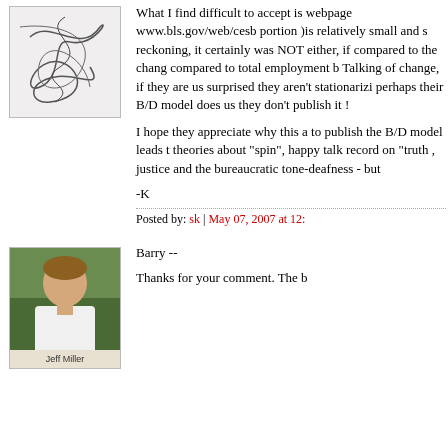[Figure (illustration): Abstract line drawing avatar image with tangled lines on light background]
What I find difficult to accept is webpage www.bls.gov/web/cesb portion )is relatively small and s reckoning, it certainly was NOT either, if compared to the chang compared to total employment b Talking of change, if they are us surprised they aren't stationarizi perhaps their B/D model does us they don't publish it !
I hope they appreciate why this a to publish the B/D model leads t theories about "spin", happy talk record on "truth , justice and the bureaucratic tone-deafness - but
-K
Posted by: sk | May 07, 2007 at 12:
[Figure (photo): Photo of Jeff Miller, a man in a white shirt outdoors]
Barry --
Thanks for your comment. The b